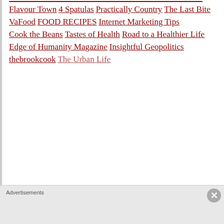Flavour Town
4 Spatulas
Practically Country
The Last Bite
VaFood
FOOD RECIPES
Internet Marketing Tips
Cook the Beans
Tastes of Health
Road to a Healthier Life
Edge of Humanity Magazine
Insightful Geopolitics
thebrookcook
The Urban Life
Advertisements